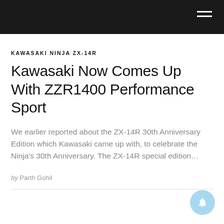KAWASAKI NINJA ZX-14R
Kawasaki Now Comes Up With ZZR1400 Performance Sport
We earlier reported about the ZX-14R 30th Anniversary Edition which Kawasaki came up with, to celebrate the Ninja’s 30th Anniversary. The ZX-14R special edition…
by Parth Gohil